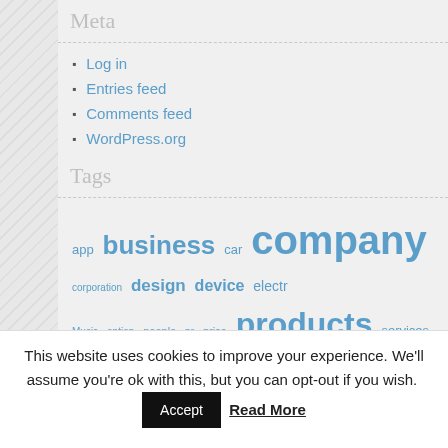Meta
Log in
Entries feed
Comments feed
WordPress.org
Tags
app business car company corporation design device electr Music option people pr price products services software technolo
This website uses cookies to improve your experience. We'll assume you're ok with this, but you can opt-out if you wish. Accept Read More